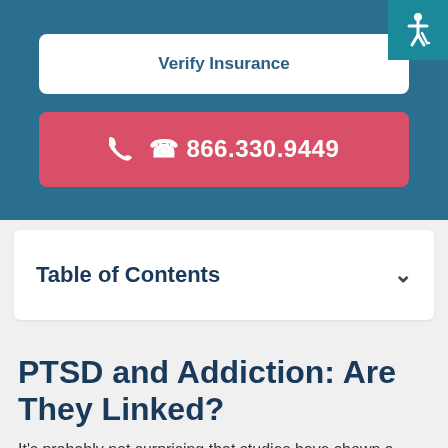Verify Insurance
866.330.9449
Table of Contents
PTSD and Addiction: Are They Linked?
It's probably not surprising that studies have shown a